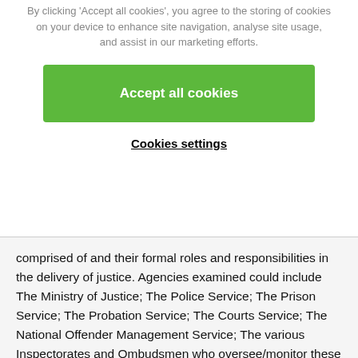By clicking 'Accept all cookies', you agree to the storing of cookies on your device to enhance site navigation, analyse site usage, and assist in our marketing efforts.
Accept all cookies
Cookies settings
comprised of and their formal roles and responsibilities in the delivery of justice. Agencies examined could include The Ministry of Justice; The Police Service; The Prison Service; The Probation Service; The Courts Service; The National Offender Management Service; The various Inspectorates and Ombudsmen who oversee/monitor these agencies and the Criminal Justice Voluntary Sector